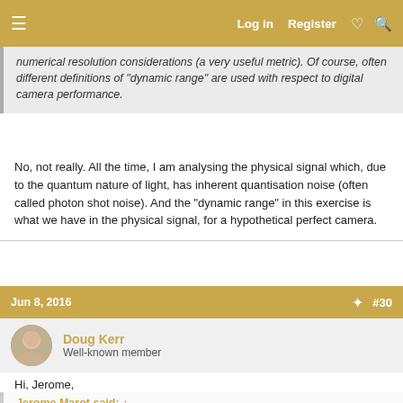Log in  Register  #  🔍
numerical resolution considerations (a very useful metric). Of course, often different definitions of "dynamic range" are used with respect to digital camera performance.
No, not really. All the time, I am analysing the physical signal which, due to the quantum nature of light, has inherent quantisation noise (often called photon shot noise). And the "dynamic range" in this exercise is what we have in the physical signal, for a hypothetical perfect camera.
Jun 8, 2016  #30
Doug Kerr
Well-known member
Hi, Jerome,
Jerome Marot said: ↑
No, not really. All the time, I am analyzing the physical signal which, due to the quantum nature of light, has inherent quantisation noise (often called photon shot noise). And the "dynamic range" in this exercise is